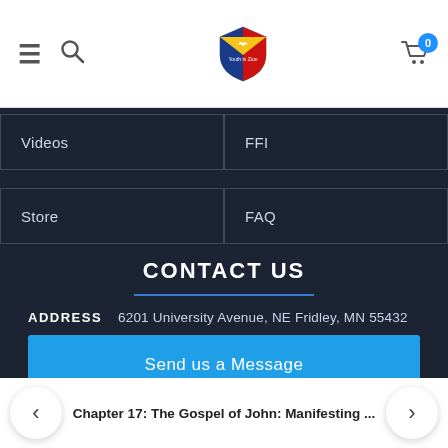Navigation header with hamburger menu, search icon, logo, and cart with 0 items
Videos
FFI
Store
FAQ
CONTACT US
ADDRESS    6201 University Avenue, NE Fridley, MN 55432
Send us a Message
< Chapter 17: The Gospel of John: Manifesting ... >